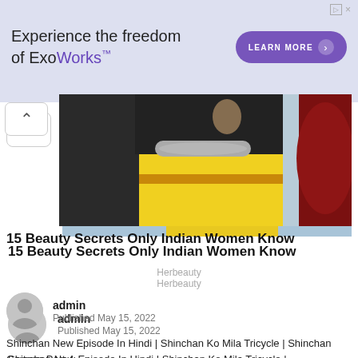[Figure (screenshot): Advertisement banner for ExoWorks with purple background, text 'Experience the freedom of ExoWorks TM' and a 'LEARN MORE' button]
[Figure (photo): Partial photo of an Indian woman in a yellow saree with a silver necklace against a blue sky background]
15 Beauty Secrets Only Indian Women Know
Herbeauty
admin
Published May 15, 2022
Shinchan New Episode In Hindi | Shinchan Ko Mila Tricycle | Shinchan Cartoon Part 4
#shinchaninhindi
#shinchan
#shinchannewepisodeinhindi
#shinchannewepisode
#shinchancartoonnewepisode
#shinchancartoon